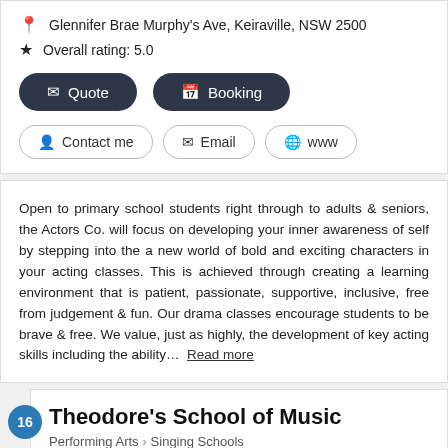Glennifer Brae Murphy's Ave, Keiraville, NSW 2500
Overall rating: 5.0
Quote
Booking
Contact me
Email
www
Open to primary school students right through to adults & seniors, the Actors Co. will focus on developing your inner awareness of self by stepping into the a new world of bold and exciting characters in your acting classes. This is achieved through creating a learning environment that is patient, passionate, supportive, inclusive, free from judgement & fun. Our drama classes encourage students to be brave & free. We value, just as highly, the development of key acting skills including the ability... Read more
Theodore's School of Music
Performing Arts > Singing Schools